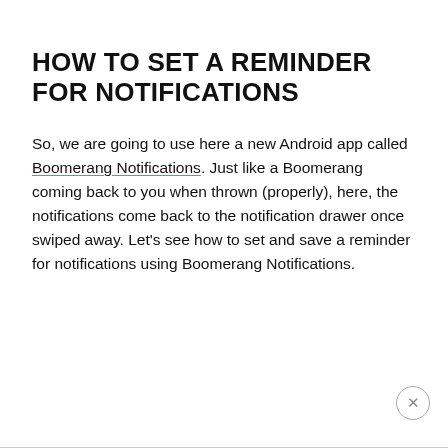HOW TO SET A REMINDER FOR NOTIFICATIONS
So, we are going to use here a new Android app called Boomerang Notifications. Just like a Boomerang coming back to you when thrown (properly), here, the notifications come back to the notification drawer once swiped away. Let’s see how to set and save a reminder for notifications using Boomerang Notifications.